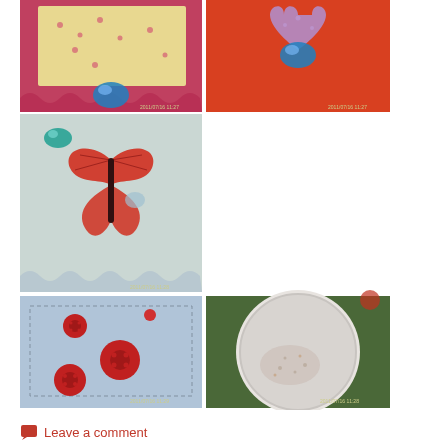[Figure (photo): Grid of 5 craft/sewing photos showing handmade fabric pin cushions and felt items decorated with buttons, gems, and embroidery. Top row: two square pin cushions (red and orange) with blue gem decorations. Middle row: one pin cushion with red butterfly design on light blue fabric. Bottom row: light blue pin cushion with red buttons on left, round white felt sachet/pin cushion on green background on right.]
Leave a comment